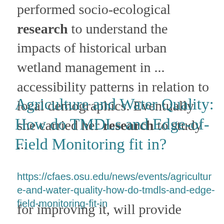performed socio-ecological research to understand the impacts of historical urban wetland management in ... accessibility patterns in relation to local demographics. Eventually she carried her research to study ...
Agriculture and Water Quality: How do TMDLs and Edge-of-Field Monitoring fit in?
https://cfaes.osu.edu/news/events/agriculture-and-water-quality-how-do-tmdls-and-edge-field-monitoring-fit-in
for improving it, will provide insight into edge-of-field research being performed at